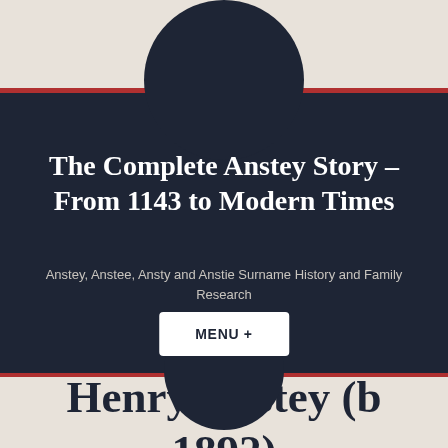The Complete Anstey Story – From 1143 to Modern Times
Anstey, Anstee, Ansty and Anstie Surname History and Family Research
MENU +
Henry Anstey (b 1892)